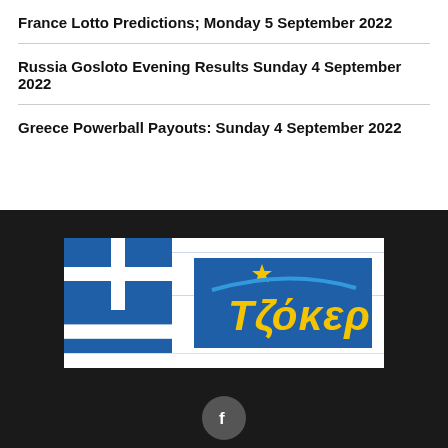France Lotto Predictions; Monday 5 September 2022
Russia Gosloto Evening Results Sunday 4 September 2022
Greece Powerball Payouts: Sunday 4 September 2022
[Figure (logo): Tzoker Greece lottery logo with Greek flag motif — blue and white horizontal stripes and cross, with stylized yellow 'Τζόκερ' text and star on right half]